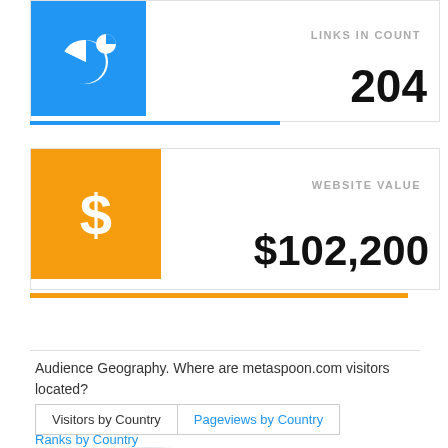[Figure (infographic): Blue icon with pie chart graphic]
LINKS IN COUNT
204
[Figure (infographic): Orange icon with dollar sign]
WEBSITE VALUE
$102,200
Audience Geography. Where are metaspoon.com visitors located?
Visitors by Country	Pageviews by Country
Ranks by Country
[Figure (map): Partial world map showing audience geography in light gray]